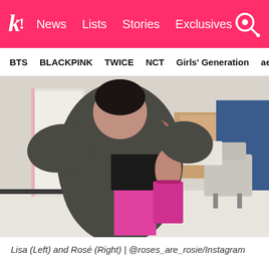k! | News | Lists | Stories | Exclusives
BTS
BLACKPINK
TWICE
NCT
Girls' Generation
aespa
[Figure (photo): Two women hugging in what appears to be a backstage dressing room. One wears a large dark grey oversized coat, the other wears a black top and a bright pink/magenta skirt. They are embracing each other. In the background are cardboard boxes, a blue partition, and an office chair.]
Lisa (Left) and Rosé (Right) | @roses_are_rosie/Instagram